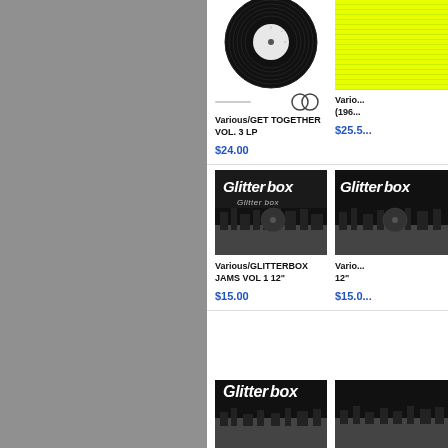[Figure (illustration): Partial vinyl record graphic, top portion visible, cut off at top edge]
[Figure (illustration): Yellow album cover with horizontal line texture pattern, partially visible on right]
Various/GET TOGETHER VOL. 3 LP
Vario... (196...
$24.00
$25.5...
[Figure (photo): Glitterbox album cover - dark grayscale image with Glitterbox cursive logo text and city skyline silhouette]
[Figure (photo): Second Glitterbox album cover - partially visible on right]
Various/GLITTERBOX JAMS VOL 1 12"
Vario... 12"
$15.00
$15.0...
[Figure (photo): Third Glitterbox album cover - bottom of page, partially visible]
[Figure (photo): Fourth album cover - bottom right, partially visible]